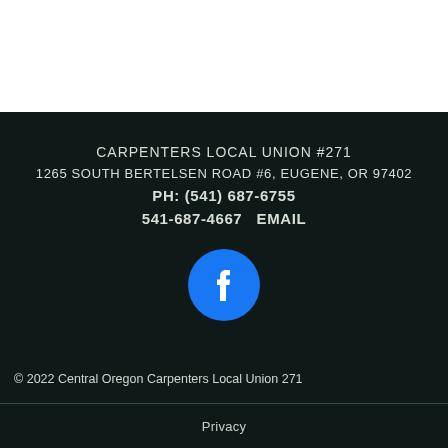CARPENTERS LOCAL UNION #271
1265 SOUTH BERTELSEN ROAD #6, EUGENE, OR 97402
PH: (541) 687-6755
541-687-4667   EMAIL
[Figure (logo): Facebook logo — white 'f' on a blue circle]
© 2022 Central Oregon Carpenters Local Union 271
Privacy